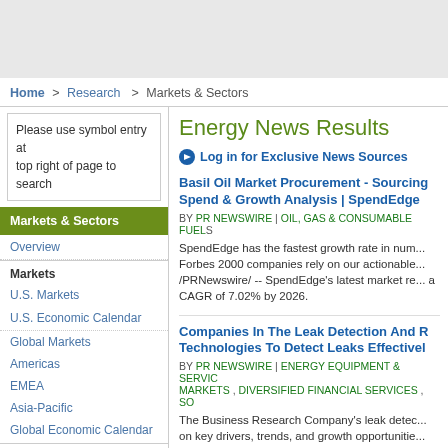Home > Research > Markets & Sectors
Please use symbol entry at top right of page to search
Markets & Sectors
Overview
Markets
U.S. Markets
U.S. Economic Calendar
Global Markets
Americas
EMEA
Asia-Pacific
Global Economic Calendar
U.S. Sectors & Industries
Sectors & Industries Overview
Energy News Results
Log in for Exclusive News Sources
Basil Oil Market Procurement - Sourcing Spend & Growth Analysis | SpendEdge
BY PR NEWSWIRE | OIL, GAS & CONSUMABLE FUELS
SpendEdge has the fastest growth rate in num... Forbes 2000 companies rely on our actionable... /PRNewswire/ -- SpendEdge's latest market re... a CAGR of 7.02% by 2026.
Companies In The Leak Detection And R... Technologies To Detect Leaks Effectivel...
BY PR NEWSWIRE | ENERGY EQUIPMENT & SERVIC... MARKETS , DIVERSIFIED FINANCIAL SERVICES , SO...
The Business Research Company's leak detec... on key drivers, trends, and growth opportunitie...